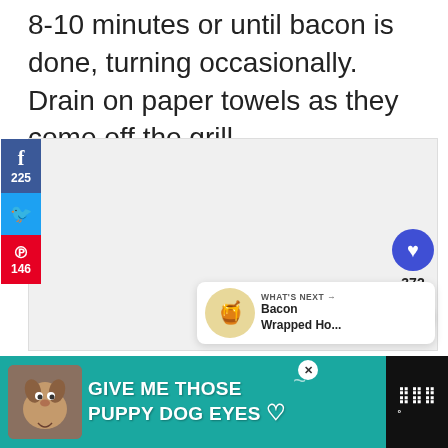8-10 minutes or until bacon is done, turning occasionally. Drain on paper towels as they come off the grill.
[Figure (screenshot): Social media share sidebar with Facebook (225), Twitter, and Pinterest (146) buttons on the left; heart button (372) and share button on top right; 'What's Next' card showing 'Bacon Wrapped Ho...']
[Figure (infographic): Bottom advertisement banner with teal background showing a dog with text 'GIVE ME THOSE PUPPY DOG EYES' with a heart icon, and a close button]